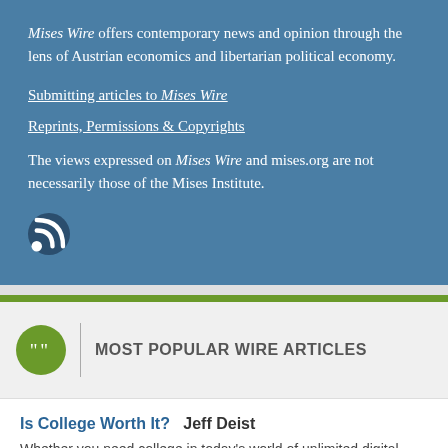Mises Wire offers contemporary news and opinion through the lens of Austrian economics and libertarian political economy.
Submitting articles to Mises Wire
Reprints, Permissions & Copyrights
The views expressed on Mises Wire and mises.org are not necessarily those of the Mises Institute.
[Figure (illustration): RSS feed icon — white wifi-like signal icon on dark blue circular background]
MOST POPULAR WIRE ARTICLES
Is College Worth It?   Jeff Deist
Whether you need college in today's world of unlimited digital information is exceedingly subjective.